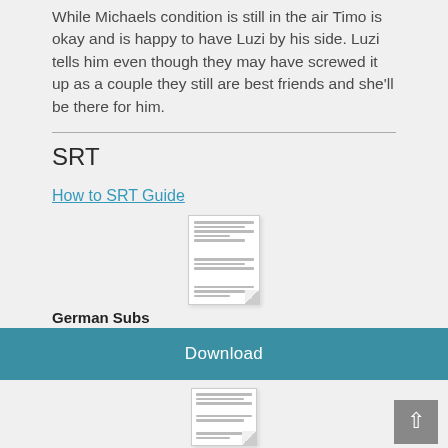While Michaels condition is still in the air Timo is okay and is happy to have Luzi by his side. Luzi tells him even though they may have screwed it up as a couple they still are best friends and she'll be there for him.
SRT
How to SRT Guide
[Figure (illustration): Thumbnail image of a text document with lines of text, slightly curled at corner]
German Subs
HaHe_F154_de.srt.txt
Text Dokument [30.5 KB]
Download
[Figure (illustration): Thumbnail image of a text document with lines of text, partially visible at bottom]